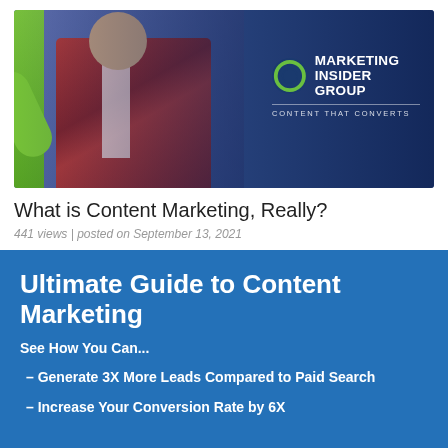[Figure (photo): Hero banner image showing a person in a plaid shirt with a green bar on left side, dark blue overlay on right with Marketing Insider Group logo and tagline 'Content That Converts']
What is Content Marketing, Really?
441 views | posted on September 13, 2021
Ultimate Guide to Content Marketing
See How You Can...
–  Generate 3X More Leads Compared to Paid Search
– Increase Your Conversion Rate by 6X